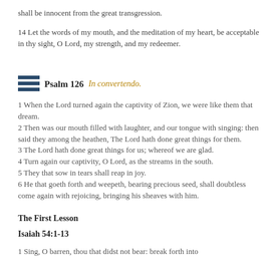shall be innocent from the great transgression.
14 Let the words of my mouth, and the meditation of my heart, be acceptable in thy sight, O Lord, my strength, and my redeemer.
Psalm 126 In convertendo.
1 When the Lord turned again the captivity of Zion, we were like them that dream.
2 Then was our mouth filled with laughter, and our tongue with singing: then said they among the heathen, The Lord hath done great things for them.
3 The Lord hath done great things for us; whereof we are glad.
4 Turn again our captivity, O Lord, as the streams in the south.
5 They that sow in tears shall reap in joy.
6 He that goeth forth and weepeth, bearing precious seed, shall doubtless come again with rejoicing, bringing his sheaves with him.
The First Lesson
Isaiah 54:1-13
1 Sing, O barren, thou that didst not bear: break forth into